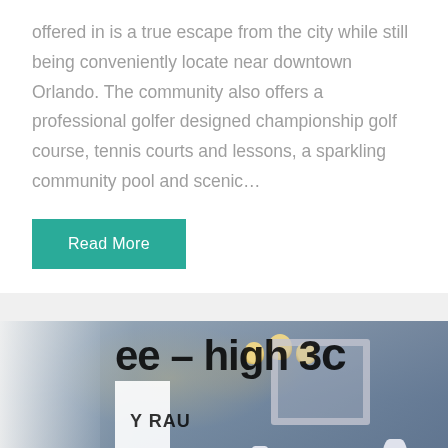offered in is a true escape from the city while still being conveniently locate near downtown Orlando. The community also offers a professional golfer designed championship golf course, tennis courts and lessons, a sparkling community pool and scenic…
Read More
[Figure (photo): Interior room photo showing a dining area with blue-gray walls, chandelier lighting, white ornamental vases, and a decorative mirror. Large bold text 'ee - high 30' and 'Y RAU' overlaid on left side of image in rotated/vertical orientation.]